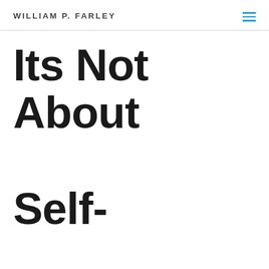WILLIAM P. FARLEY
Its Not About Self-Discipline!